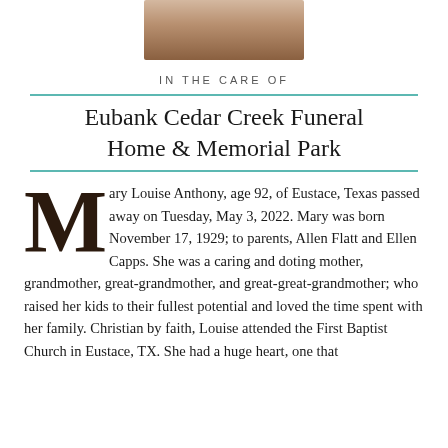[Figure (photo): Portrait photograph of Mary Louise Anthony, sepia/vintage tone, cropped at top of page]
IN THE CARE OF
Eubank Cedar Creek Funeral Home & Memorial Park
Mary Louise Anthony, age 92, of Eustace, Texas passed away on Tuesday, May 3, 2022. Mary was born November 17, 1929; to parents, Allen Flatt and Ellen Capps. She was a caring and doting mother, grandmother, great-grandmother, and great-great-grandmother; who raised her kids to their fullest potential and loved the time spent with her family. Christian by faith, Louise attended the First Baptist Church in Eustace, TX. She had a huge heart, one that